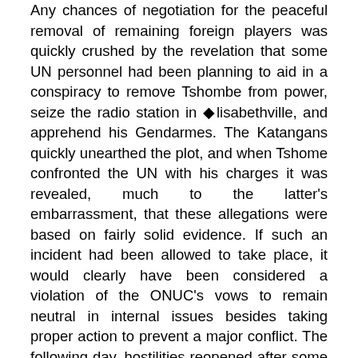Any chances of negotiation for the peaceful removal of remaining foreign players was quickly crushed by the revelation that some UN personnel had been planning to aid in a conspiracy to remove Tshombe from power, seize the radio station in �dlisabethville, and apprehend his Gendarmes. The Katangans quickly unearthed the plot, and when Tshome confronted the UN with his charges it was revealed, much to the latter's embarrassment, that these allegations were based on fairly solid evidence. If such an incident had been allowed to take place, it would clearly have been considered a violation of the ONUC's vows to remain neutral in internal issues besides taking proper action to prevent a major conflict. The following day, hostilities reopened after some Irish soldiers protecting civilians in Jadotville were surrounded by a superior force of Gendarmes, including many Europeans. Despite suffering several